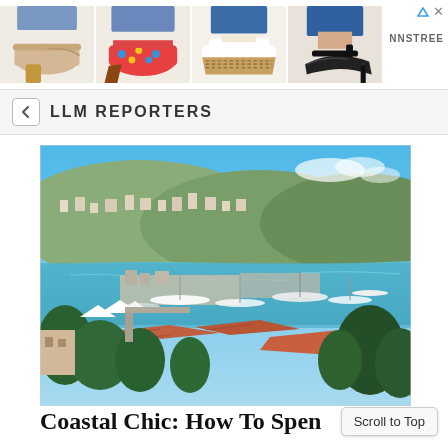[Figure (photo): Advertisement banner showing four pairs of women's shoes/sandals with heels on a white background, with NNSTREE brand logo on the right side]
LLM REPORTERS
[Figure (photo): Aerial/elevated view of Cannes, France showing the harbor full of yachts and boats, the bay with turquoise water, hillside city, red-tiled rooftop buildings in foreground, and lush green trees]
Coastal Chic: How To Spen